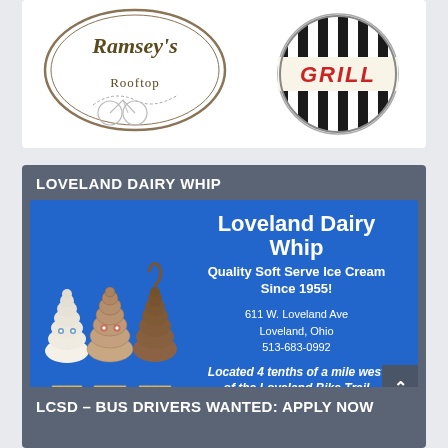[Figure (logo): Top card showing two restaurant logos: Ramsey's Rooftop (oval logo with bicycle sketch) and Grill (circular logo with black and white stripes and red text)]
LOVELAND DAIRY WHIP
[Figure (illustration): Loveland Dairy Whip advertisement on blue background. Shows three soft-serve ice cream cones with cartoon eyes on the left. Right side text reads: Loveland Dairy Whip, Quality Soft Serve Ice Cream Since 1955!, 611 W. Loveland Ave, Loveland, Ohio, 513-683-0992, Located 4 tenths of a mile west of the Loveland Bike Trail]
LCSD – BUS DRIVERS WANTED: APPLY NOW